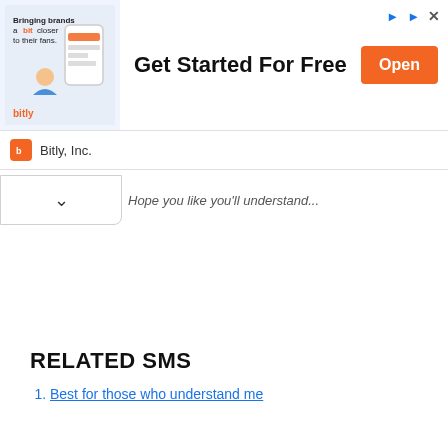[Figure (screenshot): Bitly advertisement banner showing 'Bringing brands a bit closer to their fans.' with an illustration of a phone, the text 'Get Started For Free', an orange 'Open' button, and 'Bitly, Inc.' in the footer. Top-right has a play icon and close X button.]
Hope you like you'll understand...
RELATED SMS
Best for those who understand me